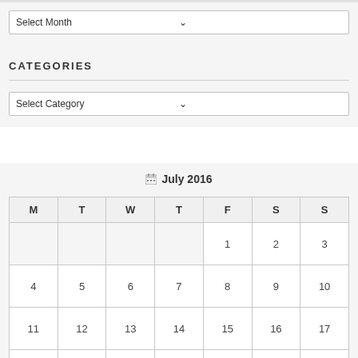Select Month
CATEGORIES
Select Category
| M | T | W | T | F | S | S |
| --- | --- | --- | --- | --- | --- | --- |
|  |  |  |  | 1 | 2 | 3 |
| 4 | 5 | 6 | 7 | 8 | 9 | 10 |
| 11 | 12 | 13 | 14 | 15 | 16 | 17 |
|  |  |  |  |  |  |  |